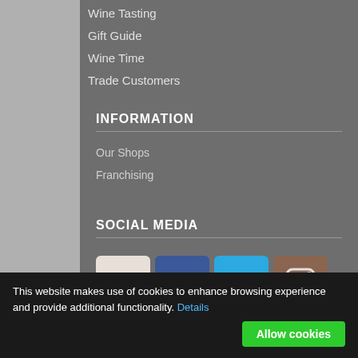Wine Tasting
Gift Guide
Wine Time
Trade Customers
INFORMATION
Our Shops
Franchising
SOCIAL MEDIA
[Figure (other): Social media icons: fr (Freerange), Facebook, Twitter, Instagram]
This website makes use of cookies to enhance browsing experience and provide additional functionality. Details
Allow cookies